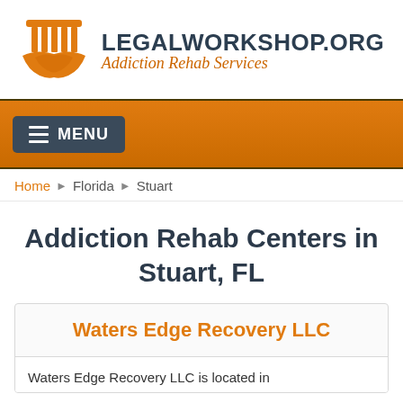[Figure (logo): LegalWorkshop.org logo with orange pillar/bowl icon, site name in dark text, and italic orange tagline 'Addiction Rehab Services']
MENU
Home  ▶  Florida  ▶  Stuart
Addiction Rehab Centers in Stuart, FL
Waters Edge Recovery LLC
Waters Edge Recovery LLC is located in